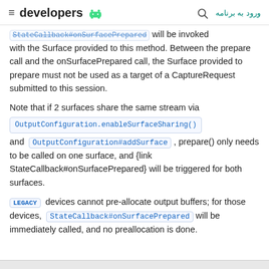developers [android logo] | ورود به برنامه
StateCallback#onSurfacePrepared will be invoked with the Surface provided to this method. Between the prepare call and the onSurfacePrepared call, the Surface provided to prepare must not be used as a target of a CaptureRequest submitted to this session.
Note that if 2 surfaces share the same stream via OutputConfiguration.enableSurfaceSharing() and OutputConfiguration#addSurface , prepare() only needs to be called on one surface, and {link StateCallback#onSurfacePrepared} will be triggered for both surfaces.
LEGACY devices cannot pre-allocate output buffers; for those devices, StateCallback#onSurfacePrepared will be immediately called, and no preallocation is done.